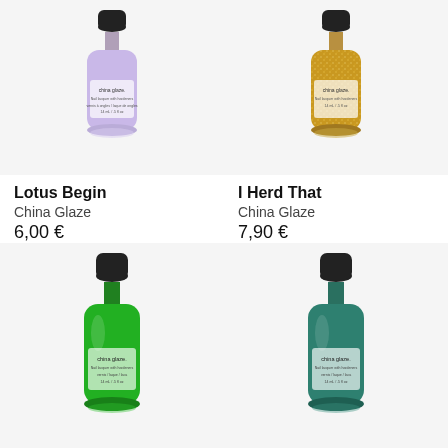[Figure (photo): China Glaze nail polish bottle in lavender/light purple color, Lotus Begin]
Lotus Begin
China Glaze
6,00 €
[Figure (photo): China Glaze nail polish bottle in gold glitter color, I Herd That]
I Herd That
China Glaze
7,90 €
[Figure (photo): China Glaze nail polish bottle in bright green color]
[Figure (photo): China Glaze nail polish bottle in teal/dark green color]